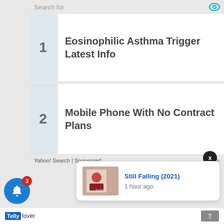Search for
1 Eosinophilic Asthma Trigger Latest Info
2 Mobile Phone With No Contract Plans
Yahoo! Search | Sponsored
x
[Figure (screenshot): Notification card showing Still Falling (2021) movie thumbnail with title in blue and '1 hour ago' timestamp]
Still Falling (2021)
1 hour ago
[Figure (logo): Telly lover logo at bottom of screen]
3